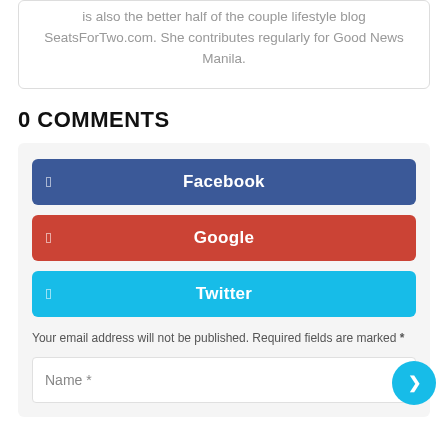is also the better half of the couple lifestyle blog SeatsForTwo.com. She contributes regularly for Good News Manila.
0 COMMENTS
[Figure (screenshot): Comment login section with Facebook (blue), Google (red), and Twitter (cyan) social login buttons, followed by a disclaimer and a Name input field.]